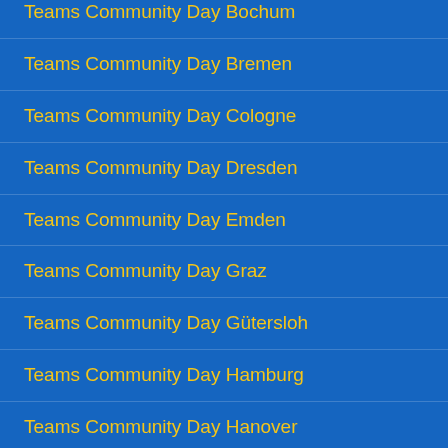Teams Community Day Bochum
Teams Community Day Bremen
Teams Community Day Cologne
Teams Community Day Dresden
Teams Community Day Emden
Teams Community Day Graz
Teams Community Day Gütersloh
Teams Community Day Hamburg
Teams Community Day Hanover
Teams Community Day Heilbronn